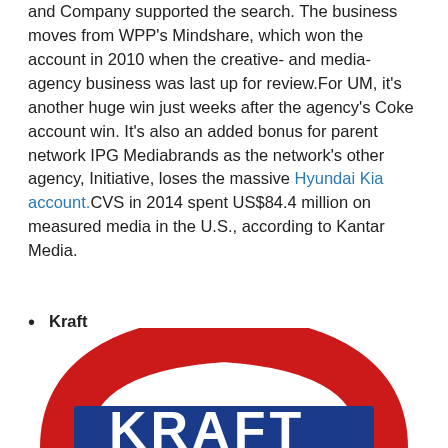and Company supported the search. The business moves from WPP's Mindshare, which won the account in 2010 when the creative- and media-agency business was last up for review.For UM, it's another huge win just weeks after the agency's Coke account win. It's also an added bonus for parent network IPG Mediabrands as the network's other agency, Initiative, loses the massive Hyundai Kia account.CVS in 2014 spent US$84.4 million on measured media in the U.S., according to Kantar Media.
Kraft
[Figure (logo): Partial Kraft logo showing red arch shape with blue letters partially visible at bottom of page]